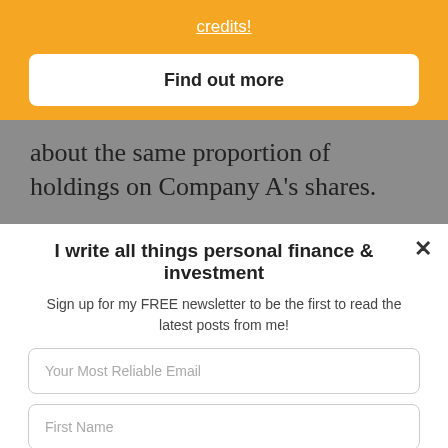credits!
Find out more
about the same proportion of holdings on Company A's shares.
I write all things personal finance & investment
Sign up for my FREE newsletter to be the first to read the latest posts from me!
Your Most Reliable Email
First Name
SUBSCRIBE